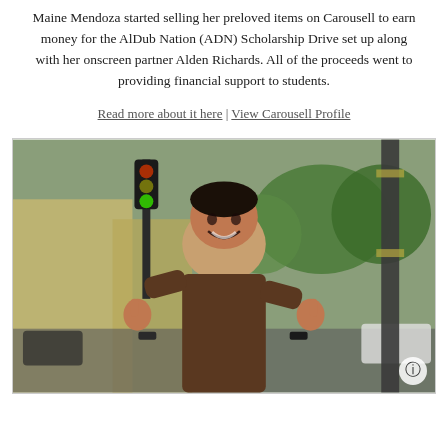Maine Mendoza started selling her preloved items on Carousell to earn money for the AlDub Nation (ADN) Scholarship Drive set up along with her onscreen partner Alden Richards. All of the proceeds went to providing financial support to students.
Read more about it here | View Carousell Profile
[Figure (photo): Man in a brown t-shirt giving two thumbs up, smiling, standing outdoors on a city street with trees and buildings in the background. An information icon appears in the bottom right corner.]